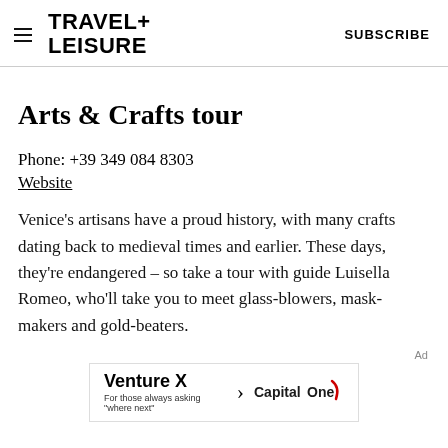TRAVEL+ LEISURE   SUBSCRIBE
Arts & Crafts tour
Phone: +39 349 084 8303
Website
Venice's artisans have a proud history, with many crafts dating back to medieval times and earlier. These days, they're endangered – so take a tour with guide Luisella Romeo, who'll take you to meet glass-blowers, mask-makers and gold-beaters.
[Figure (other): Advertisement banner: Venture X Capital One – 'For those always asking where next']